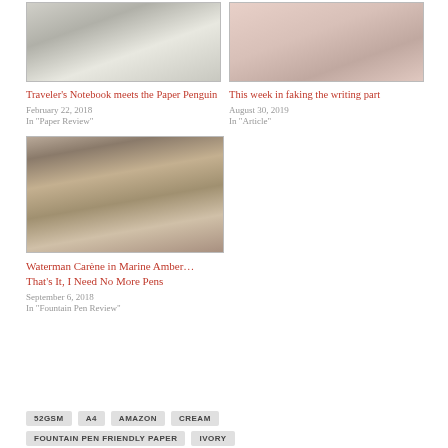[Figure (photo): Traveler's Notebook related image - handwriting on paper]
Traveler's Notebook meets the Paper Penguin
February 22, 2018
In "Paper Review"
[Figure (photo): Faking writing - hand with pen on paper]
This week in faking the writing part
August 30, 2019
In "Article"
[Figure (photo): Waterman Carene fountain pen nib close-up]
Waterman Carène in Marine Amber… That's It, I Need No More Pens
September 6, 2018
In "Fountain Pen Review"
52GSM
A4
AMAZON
CREAM
FOUNTAIN PEN FRIENDLY PAPER
IVORY